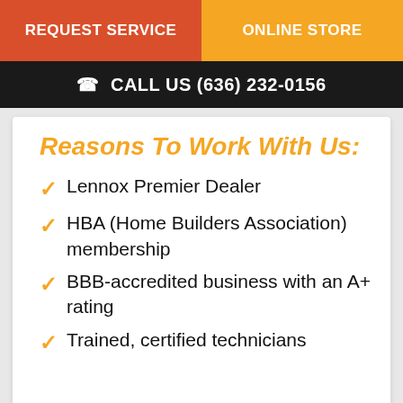REQUEST SERVICE | ONLINE STORE
CALL US (636) 232-0156
Reasons To Work With Us:
Lennox Premier Dealer
HBA (Home Builders Association) membership
BBB-accredited business with an A+ rating
Trained, certified technicians